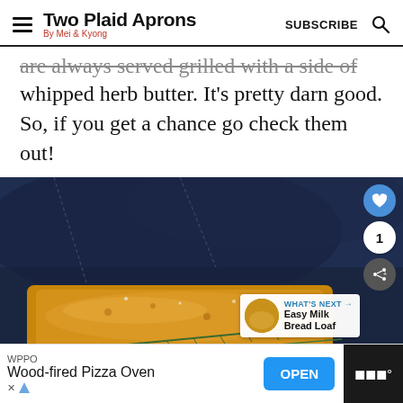Two Plaid Aprons — By Mei & Kyong — SUBSCRIBE
are always served grilled with a side of whipped herb butter. It's pretty darn good. So, if you get a chance go check them out!
[Figure (photo): Close-up photo of focaccia bread with rosemary on denim fabric background, dark moody lighting. Social media share overlay with heart button, count '1', and share button. 'What's Next' widget showing Easy Milk Bread Loaf.]
WPPO Wood-fired Pizza Oven OPEN